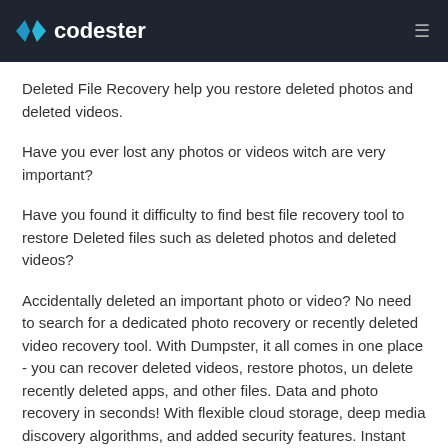codester
Deleted File Recovery help you restore deleted photos and deleted videos.
Have you ever lost any photos or videos witch are very important?
Have you found it difficulty to find best file recovery tool to restore Deleted files such as deleted photos and deleted videos?
Accidentally deleted an important photo or video? No need to search for a dedicated photo recovery or recently deleted video recovery tool. With Dumpster, it all comes in one place - you can recover deleted videos, restore photos, un delete recently deleted apps, and other files. Data and photo recovery in seconds! With flexible cloud storage, deep media discovery algorithms, and added security features. Instant video and photo recovery with Dumpster!